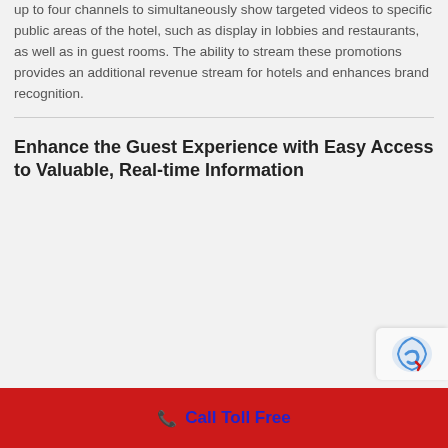up to four channels to simultaneously show targeted videos to specific public areas of the hotel, such as display in lobbies and restaurants, as well as in guest rooms. The ability to stream these promotions provides an additional revenue stream for hotels and enhances brand recognition.
Enhance the Guest Experience with Easy Access to Valuable, Real-time Information
Call Toll Free